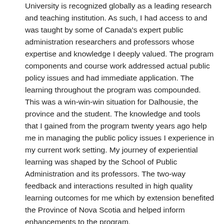University is recognized globally as a leading research and teaching institution. As such, I had access to and was taught by some of Canada's expert public administration researchers and professors whose expertise and knowledge I deeply valued. The program components and course work addressed actual public policy issues and had immediate application. The learning throughout the program was compounded. This was a win-win-win situation for Dalhousie, the province and the student. The knowledge and tools that I gained from the program twenty years ago help me in managing the public policy issues I experience in my current work setting. My journey of experiential learning was shaped by the School of Public Administration and its professors. The two-way feedback and interactions resulted in high quality learning outcomes for me which by extension benefited the Province of Nova Scotia and helped inform enhancements to the program.